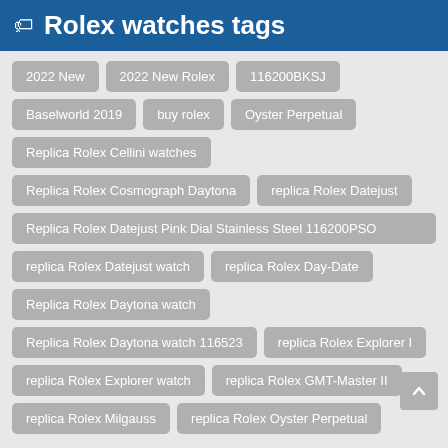Rolex watches tags
2022 New
2022 New Rolex
116200BKSJ
Baselworld 2019
buy rolex
Oyster Perpetual
Replica Rolex Cellini watches
Replica Rolex Cosmograph Daytona
replica Rolex Datejust
Replica Rolex Datejust Pink Dial Stainless Steel 116200PSO
replica Rolex Datejust watch
replica Rolex Day-Date
Replica Rolex Daytona watch
Replica Rolex Daytona watch 116523
replica Rolex Explorer I
replica Rolex Explorer watch
replica Rolex GMT-Master II
replica Rolex Milgauss
replica Rolex Oyster Perpetual